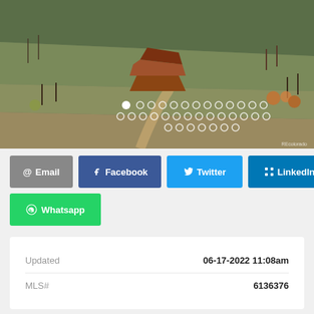[Figure (photo): Aerial drone photo of a rustic mountain home with red/brown roof surrounded by hillside terrain with sparse trees and winding dirt path]
@ Email
Facebook
Twitter
LinkedIn
Whatsapp
| Field | Value |
| --- | --- |
| Updated | 06-17-2022 11:08am |
| MLS# | 6136376 |